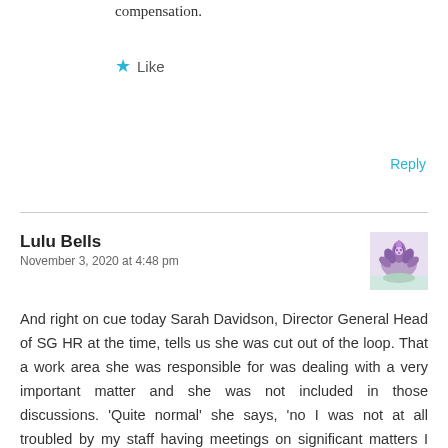compensation.
★ Like
Reply
Lulu Bells
November 3, 2020 at 4:48 pm
[Figure (photo): Avatar image of a purple thistle flower against a light background]
And right on cue today Sarah Davidson, Director General Head of SG HR at the time, tells us she was cut out of the loop. That a work area she was responsible for was dealing with a very important matter and she was not included in those discussions. 'Quite normal' she says, 'no I was not at all troubled by my staff having meetings on significant matters I knew nothing about'. Even though I am responsible for HR and the buck